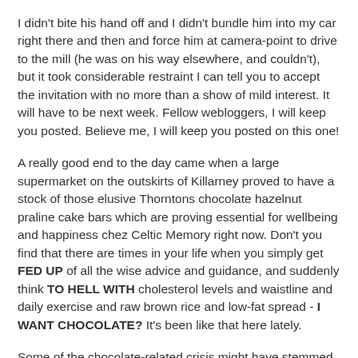I didn't bite his hand off and I didn't bundle him into my car right there and then and force him at camera-point to drive to the mill (he was on his way elsewhere, and couldn't), but it took considerable restraint I can tell you to accept the invitation with no more than a show of mild interest. It will have to be next week. Fellow webloggers, I will keep you posted. Believe me, I will keep you posted on this one!
A really good end to the day came when a large supermarket on the outskirts of Killarney proved to have a stock of those elusive Thorntons chocolate hazelnut praline cake bars which are proving essential for wellbeing and happiness chez Celtic Memory right now. Don't you find that there are times in your life when you simply get FED UP of all the wise advice and guidance, and suddenly think TO HELL WITH cholesterol levels and waistline and daily exercise and raw brown rice and low-fat spread - I WANT CHOCOLATE? It's been like that here lately.
Some of the chocolate-related crisis might have stemmed from the fact that I started a couple of swatches for those